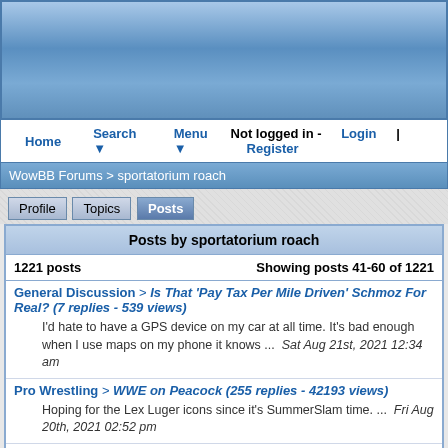[Figure (screenshot): WowBB forum header banner with blue sky gradient background]
Home  Search ▼  Menu ▼  Not logged in - Login | Register
WowBB Forums > sportatorium roach
Profile | Topics | Posts
Posts by sportatorium roach
1221 posts   Showing posts 41-60 of 1221
General Discussion > Is That 'Pay Tax Per Mile Driven' Schmoz For Real? (7 replies - 539 views)
I'd hate to have a GPS device on my car at all time. It's bad enough when I use maps on my phone it knows ...  Sat Aug 21st, 2021 12:34 am
Pro Wrestling > WWE on Peacock (255 replies - 42193 views)
Hoping for the Lex Luger icons since it's SummerSlam time. ...  Fri Aug 20th, 2021 02:52 pm
Pro Wrestling > WWE on Peacock (255 replies - 42193 views)
One Fan Gang wrote: sportatorium roach wrote: I noticed more episodes of WWF Superstars from 1994 is up. After WrestleMania X, it has one of ...  Fri Aug 20th, 2021 02:35 pm
Pro Wrestling > WWE on Peacock (255 replies - 42193 views)